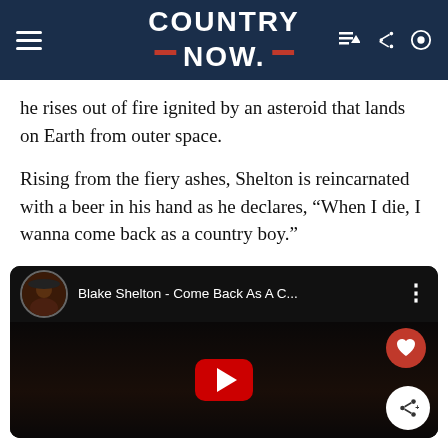COUNTRY NOW
he rises out of fire ignited by an asteroid that lands on Earth from outer space.
Rising from the fiery ashes, Shelton is reincarnated with a beer in his hand as he declares, “When I die, I wanna come back as a country boy.”
[Figure (screenshot): YouTube video embed showing Blake Shelton - Come Back As A C... with thumbnail of performer in cowboy hat, play button, heart and share icons]